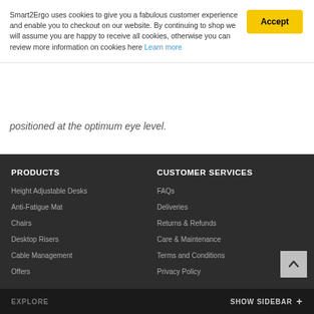Smart2Ergo uses cookies to give you a fabulous customer experience and enable you to checkout on our website. By continuing to shop we will assume you are happy to receive all cookies, otherwise you can review more information on cookies here Learn more
positioned at the optimum eye level.
PRODUCTS
Height Adjustable Desks
Anti-Fatigue Mat
Chairs
Desktop Risers
Cable Management
Offers
CUSTOMER SERVICES
FAQs
Deliveries
Returns & Refunds
Care & Maintenance
Terms and Conditions
Privacy Policy
EXPLORE   SHOW SIDEBAR +